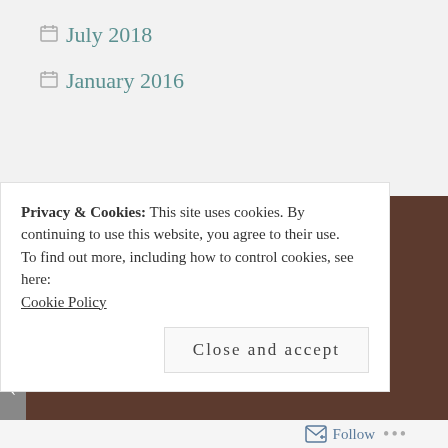July 2018
January 2016
CATEGORIES
Background
Combat
Privacy & Cookies: This site uses cookies. By continuing to use this website, you agree to their use.
To find out more, including how to control cookies, see here:
Cookie Policy
Close and accept
Follow